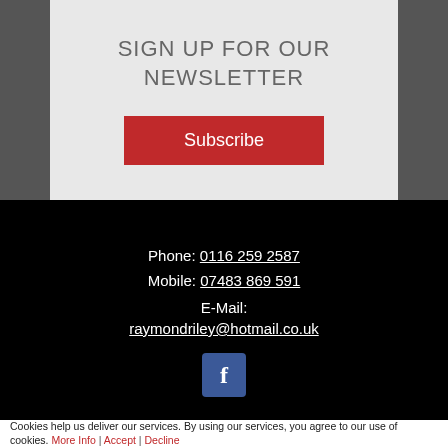SIGN UP FOR OUR NEWSLETTER
Subscribe
Phone: 0116 259 2587
Mobile: 07483 869 591
E-Mail:
raymondriley@hotmail.co.uk
[Figure (logo): Facebook icon button (blue square with white 'f' letter)]
Cookies help us deliver our services. By using our services, you agree to our use of cookies. More Info | Accept | Decline